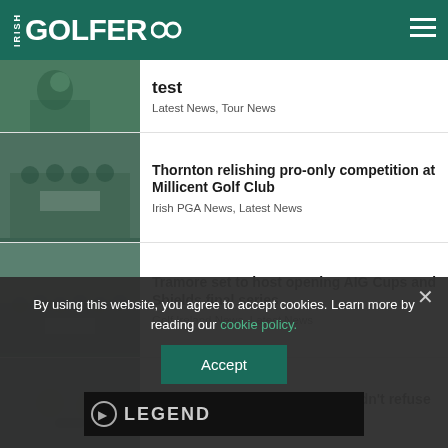IRISH GOLFER
test
Latest News, Tour News
Thornton relishing pro-only competition at Millicent Golf Club
Irish PGA News, Latest News
Tramore set to host opening AIG Cups and Shields final series
Golf Ireland News, Latest News
Cam Smith on LIV offer he couldn't refuse
Latest News, Tour News
By using this website, you agree to accept cookies. Learn more by reading our cookie policy.
Accept